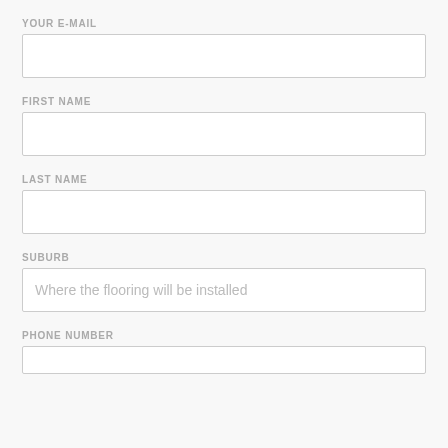YOUR E-MAIL
[Figure (other): Empty text input field for e-mail]
FIRST NAME
[Figure (other): Empty text input field for first name]
LAST NAME
[Figure (other): Empty text input field for last name]
SUBURB
[Figure (other): Text input field for suburb with placeholder: Where the flooring will be installed]
PHONE NUMBER
[Figure (other): Empty text input field for phone number]